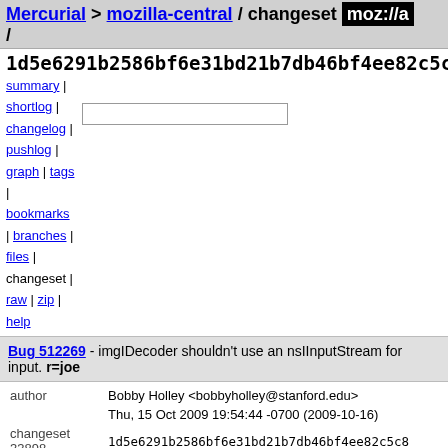Mercurial > mozilla-central / changeset moz://a /
1d5e6291b2586bf6e31bd21b7db46bf4ee82c5c8
summary | shortlog | changelog | pushlog | graph | tags | bookmarks | branches | files | changeset | raw | zip | help
Bug 512269 - imgIDecoder shouldn't use an nsIInputStream for input. r=joe
| field | value |
| --- | --- |
| author | Bobby Holley <bobbyholley@stanford.edu> |
|  | Thu, 15 Oct 2009 19:54:44 -0700 (2009-10-16) |
| changeset 33898 | 1d5e6291b2586bf6e31bd21b7db46bf4ee82c5c8 |
| parent 33897 | 9605f7ad200c69122574bd348ec7597c32118f47 |
| child 33899 | 431c83030afef7e74b7da6aed3cb9102a764c99e |
| push id | 9755 |
| push user | bobbyholley@stanford.edu |